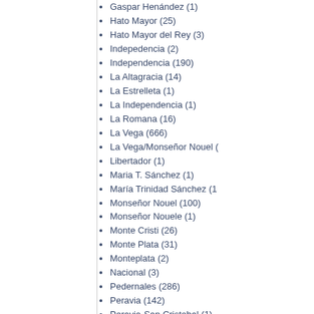Gaspar Henández (1)
Hato Mayor (25)
Hato Mayor del Rey (3)
Indepedencia (2)
Independencia (190)
La Altagracia (14)
La Estrelleta (1)
La Independencia (1)
La Romana (16)
La Vega (666)
La Vega/Monseñor Nouel (
Libertador (1)
Maria T. Sánchez (1)
María Trinidad Sánchez (1
Monseñor Nouel (100)
Monseñor Nouele (1)
Monte Cristi (26)
Monte Plata (31)
Monteplata (2)
Nacional (3)
Pedernales (286)
Peravia (142)
Peravia-San Cristobal (1)
Perdenales (6)
Perravia (1)
Provincia de Monte Cristi (
Provincia de Pedernales (1
Provincia de Puerto Plata (
Provincia de San Pedro de
Puerto Plata (60)
Salcedo (16)
Samaná (23)